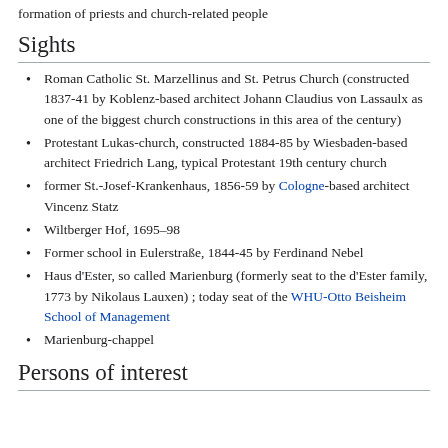formation of priests and church-related people
Sights
Roman Catholic St. Marzellinus and St. Petrus Church (constructed 1837-41 by Koblenz-based architect Johann Claudius von Lassaulx as one of the biggest church constructions in this area of the century)
Protestant Lukas-church, constructed 1884-85 by Wiesbaden-based architect Friedrich Lang, typical Protestant 19th century church
former St.-Josef-Krankenhaus, 1856-59 by Cologne-based architect Vincenz Statz
Wiltberger Hof, 1695–98
Former school in Eulerstraße, 1844-45 by Ferdinand Nebel
Haus d'Ester, so called Marienburg (formerly seat to the d'Ester family, 1773 by Nikolaus Lauxen) ; today seat of the WHU-Otto Beisheim School of Management
Marienburg-chappel
Persons of interest